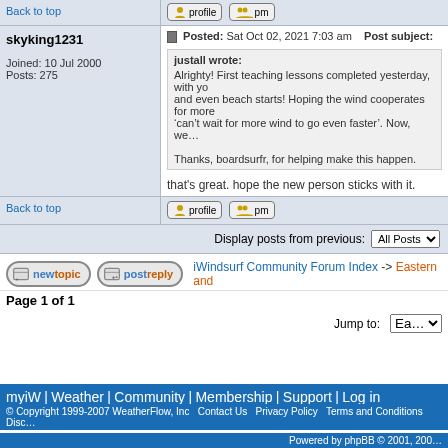Back to top
skyking1231
Joined: 10 Jul 2000
Posts: 275
Posted: Sat Oct 02, 2021 7:03 am   Post subject:
justall wrote:
Alrighty! First teaching lessons completed yesterday, with yo... and even beach starts! Hoping the wind cooperates for more... â€œcanâ€™t wait for more wind to go even fasterâ€. Now, weâ€¦
Thanks, boardsurfr, for helping make this happen.
that's great. hope the new person sticks with it.
Back to top
Display posts from previous:
iWindsurf Community Forum Index -> Eastern and...
Page 1 of 1
Jump to:
myiW | Weather | Community | Membership | Support | Log in
© Copyright 1999-2007 WeatherFlow, Inc Contact Us Privacy Policy Terms and Conditions Disc...
Powered by phpBB © 2001, 200...